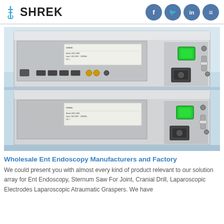SHREK
[Figure (photo): Two stacked medical ENT endoscopy equipment units showing the back panels with ports, green power switches, labels, and power connectors, photographed against a light blue background.]
Wholesale Ent Endoscopy Manufacturers and Factory
We could present you with almost every kind of product relevant to our solution array for Ent Endoscopy, Sternum Saw For Joint, Cranial Drill, Laparoscopic Electrodes Laparoscopic Atraumatic Graspers. We have